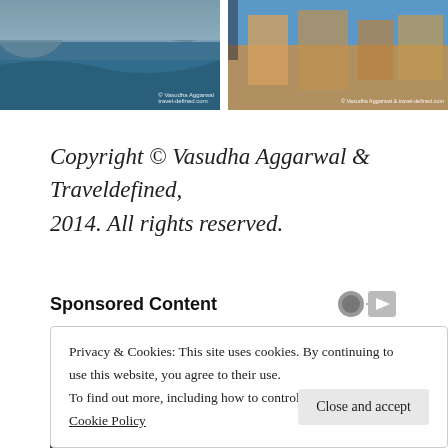[Figure (photo): Two travel photos side by side: left shows a body of water with rocky cliffs, right shows a colorful street scene with buildings and a sign]
Copyright © Vasudha Aggarwal & Traveldefined, 2014. All rights reserved.
Sponsored Content
[Figure (photo): Sponsored content advertisement showing a person wearing a large dark cowboy hat]
Privacy & Cookies: This site uses cookies. By continuing to use this website, you agree to their use.
To find out more, including how to control cookies, see here:
Cookie Policy